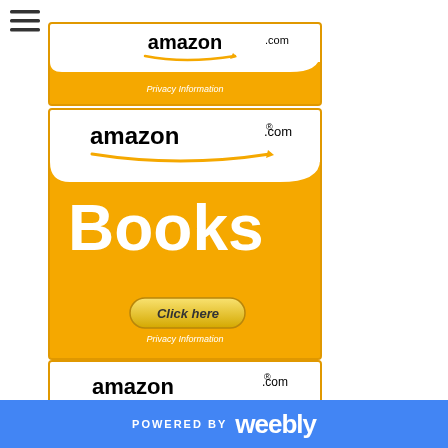[Figure (logo): Hamburger menu icon (three horizontal lines)]
[Figure (illustration): Amazon.com orange ad banner (top, partially visible) with 'Privacy Information' text]
[Figure (illustration): Amazon.com Books orange ad banner with logo, 'Books' text, 'Click here' button, and 'Privacy Information' text]
[Figure (illustration): Amazon.com orange ad banner (bottom, partially visible) with amazon.com logo]
POWERED BY weebly